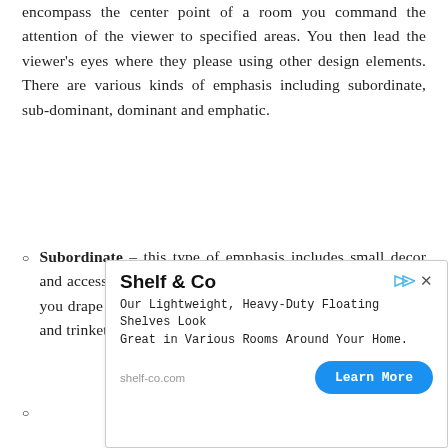encompass the center point of a room you command the attention of the viewer to specified areas. You then lead the viewer's eyes where they please using other design elements. There are various kinds of emphasis including subordinate, sub-dominant, dominant and emphatic.
Subordinate – this type of emphasis includes small decor and accessories. For example, a throw in a contrasting color you drape on a couch, small room features such as small art and trinkets around the room.
[Figure (other): Advertisement banner for Shelf & Co. showing brand name, description 'Our Lightweight, Heavy-Duty Floating Shelves Look Great in Various Rooms Around Your Home.', URL shelf-co.com, and a blue 'Learn More' button.]